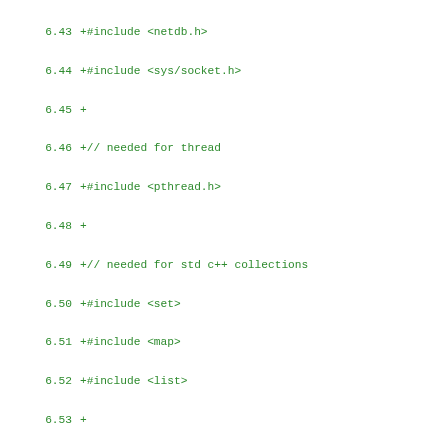6.43  +#include <netdb.h>
6.44  +#include <sys/socket.h>
6.45  +
6.46  +// needed for thread
6.47  +#include <pthread.h>
6.48  +
6.49  +// needed for std c++ collections
6.50  +#include <set>
6.51  +#include <map>
6.52  +#include <list>
6.53  +
6.54  +// for the dns resolver
6.55  +#include <netinet/in.h>
6.56  +#include <arpa/nameser.h>
6.57  +#include <resolv.h>
6.58  +
6.59  +// misc stuff needed here
6.60  +#include <ctype.h>
6.61  +#include <fstream>
6.62  +#include <syslog.h>
6.63  +
6.64  +
6.65  +using namespace std;
6.66  +
6.67  +
6.68  +extern "C" {
6.69  +    #include "libmilter/mfapi.h"
6.70  +    sfsistat mlfi_connect(SMFICTX *ctx, char *hostname, SOCK_ADDR